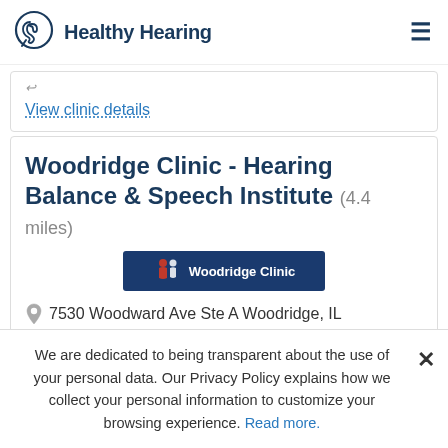Healthy Hearing
View clinic details
Woodridge Clinic - Hearing Balance & Speech Institute (4.4 miles)
[Figure (logo): Woodridge Clinic logo on dark navy background with icon of two people figures]
7530 Woodward Ave Ste A Woodridge, IL
We are dedicated to being transparent about the use of your personal data. Our Privacy Policy explains how we collect your personal information to customize your browsing experience. Read more.